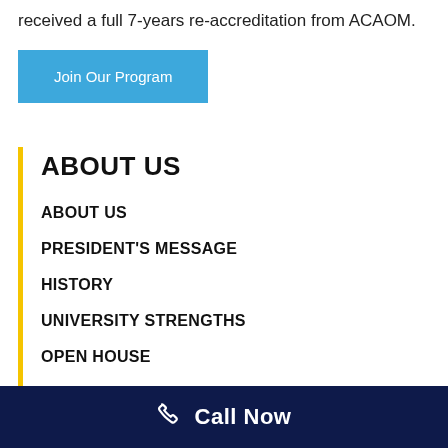received a full 7-years re-accreditation from ACAOM.
Join Our Program
ABOUT US
ABOUT US
PRESIDENT'S MESSAGE
HISTORY
UNIVERSITY STRENGTHS
OPEN HOUSE
BPPE REQUIREMENTS
Call Now